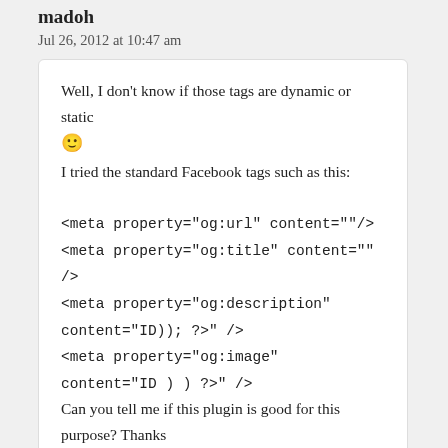madoh
Jul 26, 2012 at 10:47 am
Well, I don't know if those tags are dynamic or static 🙂 I tried the standard Facebook tags such as this:

<meta property="og:url" content=""/>
<meta property="og:title" content="" />
<meta property="og:description" content="ID)); ?>" />

<meta property="og:image" content="ID ) ) ?>" />

Can you tell me if this plugin is good for this purpose? Thanks